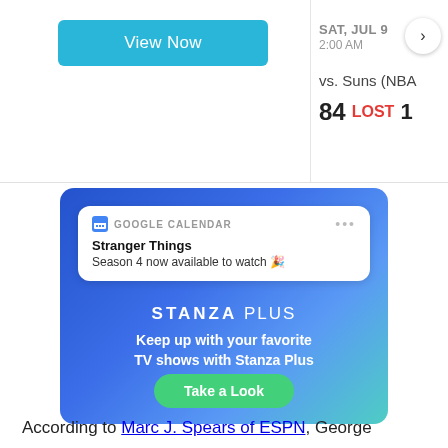[Figure (screenshot): View Now button in cyan/teal color on white background, and a sports score card showing SAT, JUL 9, 2:00 AM, vs. Suns (NBA), 84 LOST 1]
[Figure (screenshot): Stanza Plus advertisement banner with Google Calendar notification showing Stranger Things Season 4 now available to watch, and Take a Look button]
According to Marc J. Spears of ESPN, George